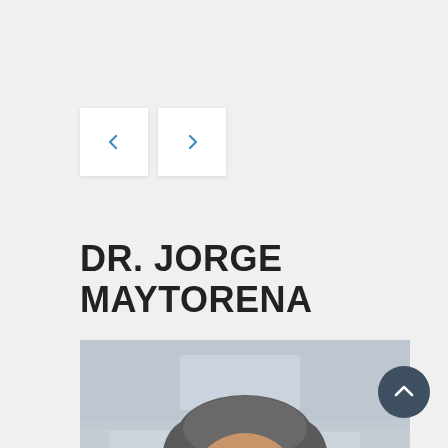[Figure (other): Navigation prev/next arrow buttons: two white square buttons side by side, left button has a blue left-chevron, right button has a blue right-chevron]
DR. JORGE MAYTORENA
[Figure (photo): Portrait photo of Dr. Jorge Maytorena, a middle-aged man with dark grey hair, smiling, wearing dark clothing, photographed outdoors in front of a building]
[Figure (other): Dark blue-grey circular scroll-to-top button with an upward chevron arrow, positioned at bottom right]